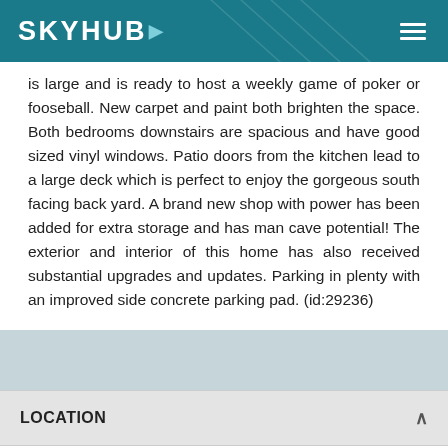SKYHUB
is large and is ready to host a weekly game of poker or fooseball. New carpet and paint both brighten the space. Both bedrooms downstairs are spacious and have good sized vinyl windows. Patio doors from the kitchen lead to a large deck which is perfect to enjoy the gorgeous south facing back yard. A brand new shop with power has been added for extra storage and has man cave potential! The exterior and interior of this home has also received substantial upgrades and updates. Parking in plenty with an improved side concrete parking pad. (id:29236)
LOCATION
Address: 79 Marion Crescent